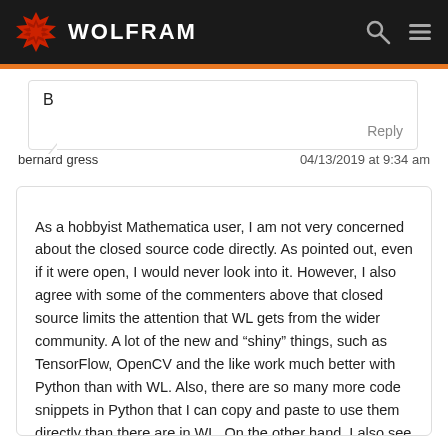WOLFRAM
B
Reply
bernard gress    04/13/2019 at 9:34 am
As a hobbyist Mathematica user, I am not very concerned about the closed source code directly. As pointed out, even if it were open, I would never look into it. However, I also agree with some of the commenters above that closed source limits the attention that WL gets from the wider community. A lot of the new and “shiny” things, such as TensorFlow, OpenCV and the like work much better with Python than with WL. Also, there are so many more code snippets in Python that I can copy and paste to use them directly than there are in WL. On the other hand, I also see the strengths of the Wolfram proposition. I work as a patent attorney, and when I come home and want to play around for an our to explore the Einstein equations or the quantum mechanic harmonic oscillator or similar things, I can not be bothered to figure out again on which port and with which password the Jupyter server works or which Python environment I should switch too to use a particular library. As a side note: Wolfram releases Mathematica for free for the Raspberry PI. This system is (nearly) fully functional, but even